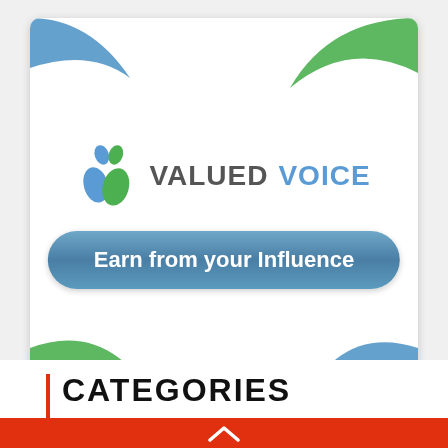[Figure (logo): Valued Voice advertisement banner. Logo with blue and green leaf/heart icon, text 'VALUED VOICE' in grey and blue. Blue rounded button with text 'Earn from your Influence'. Decorative green and blue swooshes in corners of white card.]
CATEGORIES